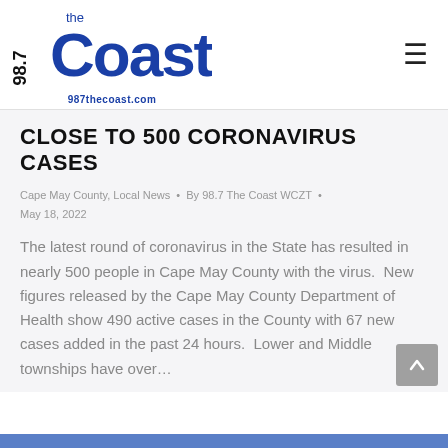98.7 The Coast — 987thecoast.com
CLOSE TO 500 CORONAVIRUS CASES
Cape May County, Local News • By 98.7 The Coast WCZT • May 18, 2022
The latest round of coronavirus in the State has resulted in nearly 500 people in Cape May County with the virus.  New figures released by the Cape May County Department of Health show 490 active cases in the County with 67 new cases added in the past 24 hours.  Lower and Middle townships have over…